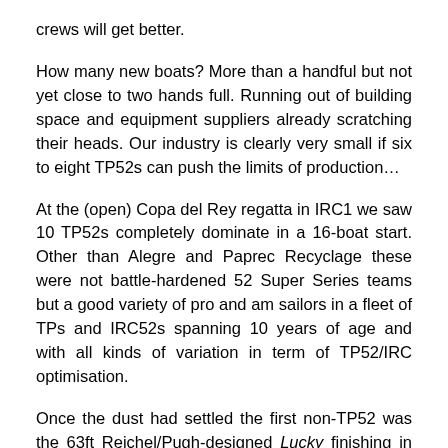crews will get better.
How many new boats? More than a handful but not yet close to two hands full. Running out of building space and equipment suppliers already scratching their heads. Our industry is clearly very small if six to eight TP52s can push the limits of production…
At the (open) Copa del Rey regatta in IRC1 we saw 10 TP52s completely dominate in a 16-boat start. Other than Alegre and Paprec Recyclage these were not battle-hardened 52 Super Series teams but a good variety of pro and am sailors in a fleet of TPs and IRC52s spanning 10 years of age and with all kinds of variation in term of TP52/IRC optimisation.
Once the dust had settled the first non-TP52 was the 63ft Reichel/Pugh-designed Lucky finishing in 8th overall. The podium was made up of the 2015 Botin designed TR…